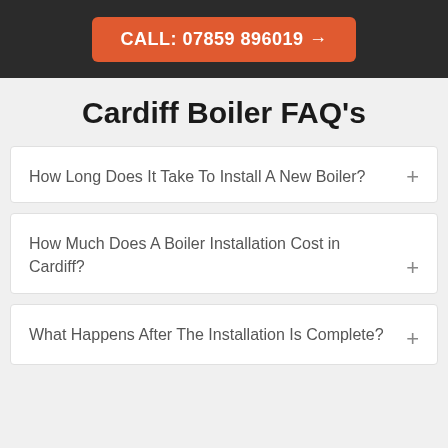CALL: 07859 896019 →
Cardiff Boiler FAQ's
How Long Does It Take To Install A New Boiler?
How Much Does A Boiler Installation Cost in Cardiff?
What Happens After The Installation Is Complete?